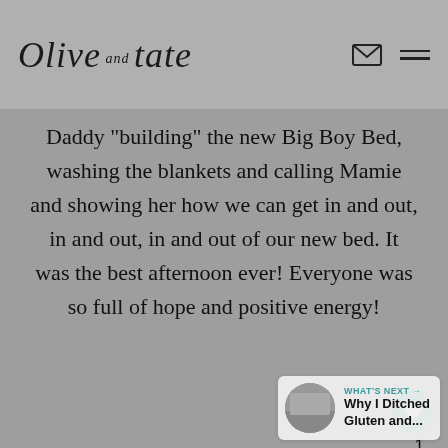Olive and Tate
Daddy "building" the new Big Boy Bed, washing the blankets and calling Mamie and showing her how we can get in and out, in and out, in and out of our new bed. It was the best afternoon ever! Everyone was so full of hope and positive energy!
1
WHAT'S NEXT → Why I Ditched Gluten and...